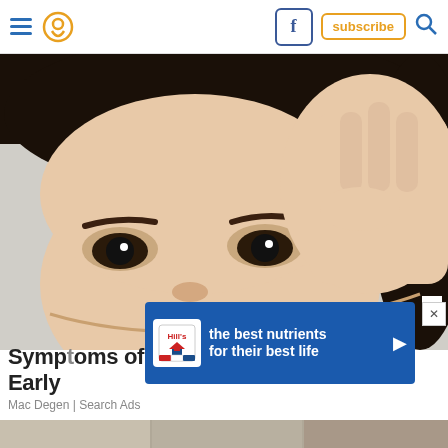Navigation bar with hamburger menu, location icon, Facebook icon, subscribe button, and search icon
[Figure (photo): Close-up photo of a young Asian girl's face with her hand touching near her eyebrow, looking forward with wide eyes against a light background]
[Figure (other): Advertisement banner for Hill's pet nutrition: 'the best nutrients for their best life' with Hill's logo and play arrow button]
Symptoms of [ad covered] ing It Early [ad covered]
Mac Degen | Search Ads